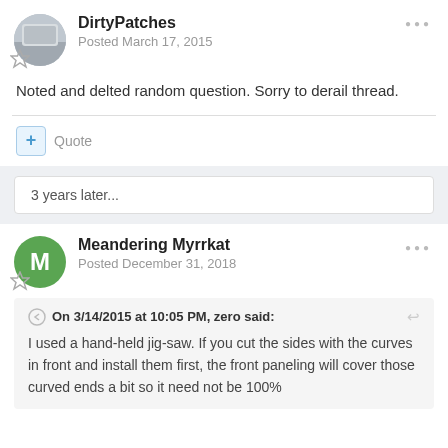DirtyPatches
Posted March 17, 2015
Noted and delted random question. Sorry to derail thread.
+ Quote
3 years later...
Meandering Myrrkat
Posted December 31, 2018
On 3/14/2015 at 10:05 PM, zero said:
I used a hand-held jig-saw. If you cut the sides with the curves in front and install them first, the front paneling will cover those curved ends a bit so it need not be 100%